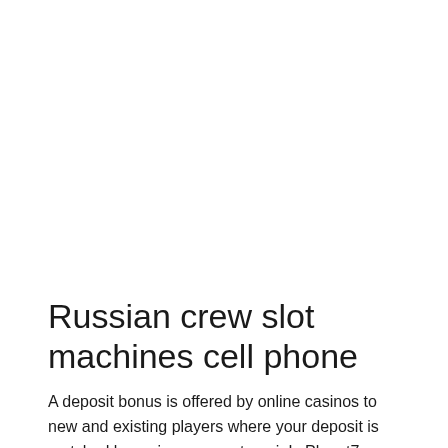Russian crew slot machines cell phone
A deposit bonus is offered by online casinos to new and existing players where your deposit is matched by a given percentage i. Is Planet7 Casino legit? Yes, it is 100%